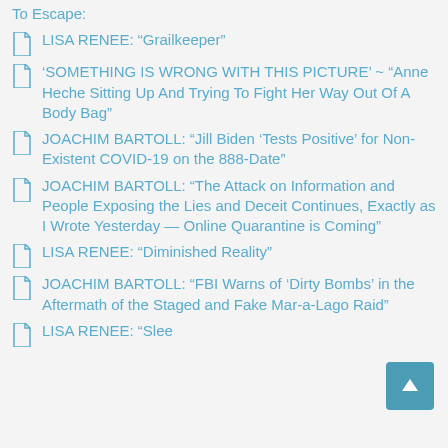To Escape:
LISA RENEE: “Grailkeeper”
'SOMETHING IS WRONG WITH THIS PICTURE' ~ “Anne Heche Sitting Up And Trying To Fight Her Way Out Of A Body Bag”
JOACHIM BARTOLL: “Jill Biden ‘Tests Positive’ for Non-Existent COVID-19 on the 888-Date”
JOACHIM BARTOLL: “The Attack on Information and People Exposing the Lies and Deceit Continues, Exactly as I Wrote Yesterday — Online Quarantine is Coming”
LISA RENEE: “Diminished Reality”
JOACHIM BARTOLL: “FBI Warns of ‘Dirty Bombs’ in the Aftermath of the Staged and Fake Mar-a-Lago Raid”
LISA RENEE: “Sleeping Beauty”